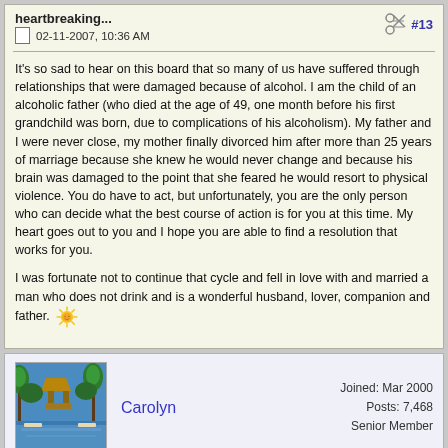heartbreaking...
02-11-2007, 10:36 AM
#13
It's so sad to hear on this board that so many of us have suffered through relationships that were damaged because of alcohol. I am the child of an alcoholic father (who died at the age of 49, one month before his first grandchild was born, due to complications of his alcoholism). My father and I were never close, my mother finally divorced him after more than 25 years of marriage because she knew he would never change and because his brain was damaged to the point that she feared he would resort to physical violence. You do have to act, but unfortunately, you are the only person who can decide what the best course of action is for you at this time. My heart goes out to you and I hope you are able to find a resolution that works for you.
I was fortunate not to continue that cycle and fell in love with and married a man who does not drink and is a wonderful husband, lover, companion and father. 🌞
[Figure (photo): A tropical pool scene with lush green trees and a thatched structure]
Carolyn
Joined: Mar 2000
Posts: 7,468
Senior Member